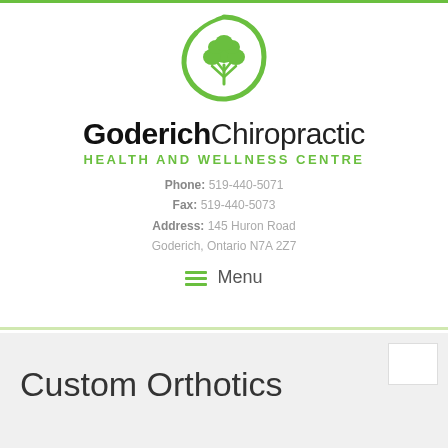[Figure (logo): Goderich Chiropractic logo: green circular brushstroke enclosing a green tree silhouette]
Goderich Chiropractic HEALTH AND WELLNESS CENTRE
Phone: 519-440-5071
Fax: 519-440-5073
Address: 145 Huron Road
Goderich, Ontario N7A 2Z7
Menu
Custom Orthotics